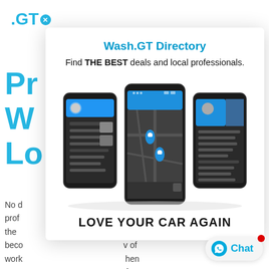[Figure (logo): .GT logo with blue circle X icon]
Pr… rs
W…
Lo…
No d… and prof… here the… also beco… v of work… hen even… few of t… more, can be removed from your day-to… y sinduivine niver Wash GF o hid dlenstiest f…
Wash.GT Directory
Find THE BEST deals and local professionals.
[Figure (screenshot): Three smartphones showing the Wash.GT app interface with blue header, map view with location pins, and menu screens]
LOVE YOUR CAR AGAIN
[Figure (other): Chat button with WhatsApp icon and red notification dot]